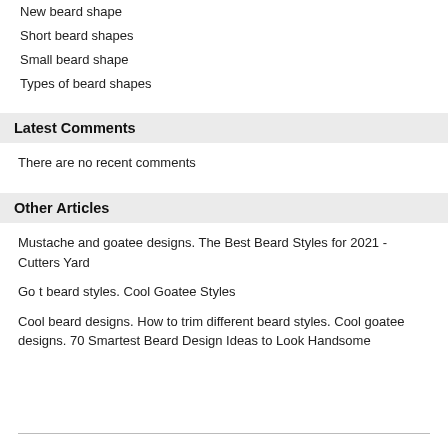New beard shape
Short beard shapes
Small beard shape
Types of beard shapes
Latest Comments
There are no recent comments
Other Articles
Mustache and goatee designs. The Best Beard Styles for 2021 - Cutters Yard
Go t beard styles. Cool Goatee Styles
Cool beard designs. How to trim different beard styles. Cool goatee designs. 70 Smartest Beard Design Ideas to Look Handsome